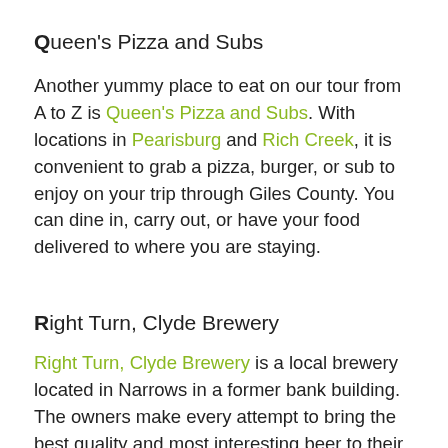Queen's Pizza and Subs
Another yummy place to eat on our tour from A to Z is Queen's Pizza and Subs. With locations in Pearisburg and Rich Creek, it is convenient to grab a pizza, burger, or sub to enjoy on your trip through Giles County. You can dine in, carry out, or have your food delivered to where you are staying.
Right Turn, Clyde Brewery
Right Turn, Clyde Brewery is a local brewery located in Narrows in a former bank building. The owners make every attempt to bring the best quality and most interesting beer to their patrons. They also work with local